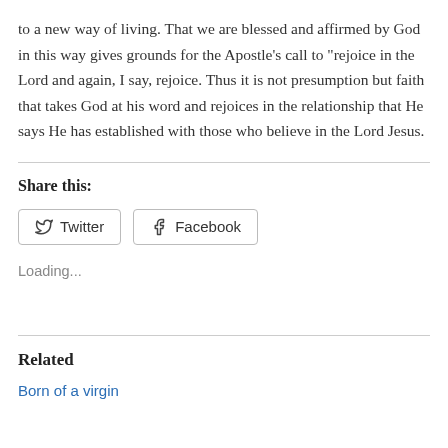to a new way of living. That we are blessed and affirmed by God in this way gives grounds for the Apostle's call to “rejoice in the Lord and again, I say, rejoice. Thus it is not presumption but faith that takes God at his word and rejoices in the relationship that He says He has established with those who believe in the Lord Jesus.
Share this:
[Figure (other): Twitter and Facebook share buttons]
Loading...
Related
Born of a virgin